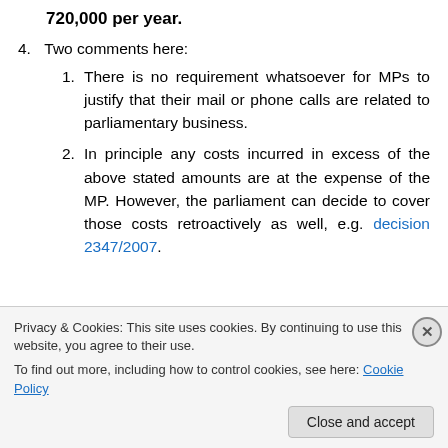720,000 per year.
4. Two comments here:
1. There is no requirement whatsoever for MPs to justify that their mail or phone calls are related to parliamentary business.
2. In principle any costs incurred in excess of the above stated amounts are at the expense of the MP. However, the parliament can decide to cover those costs retroactively as well, e.g. decision 2347/2007.
[Figure (other): Blue gradient horizontal bar]
Privacy & Cookies: This site uses cookies. By continuing to use this website, you agree to their use. To find out more, including how to control cookies, see here: Cookie Policy
Close and accept